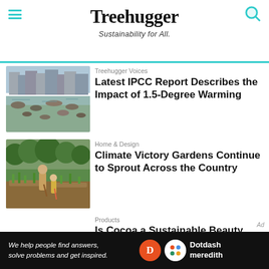Treehugger — Sustainability for All.
[Figure (photo): Flooded town with damaged buildings and muddy water]
Treehugger Voices
Latest IPCC Report Describes the Impact of 1.5-Degree Warming
[Figure (photo): Adult and child gardening together in a vegetable garden]
Home & Design
Climate Victory Gardens Continue to Sprout Across the Country
[Figure (photo): Bowl of cocoa powder with chocolate and cocoa pods on green leaves]
Products
Is Cocoa a Sustainable Beauty Ingredient?
Ad — We help people find answers, solve problems and get inspired. Dotdash meredith